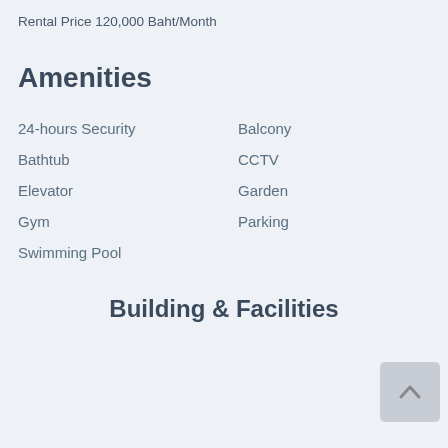Rental Price 120,000 Baht/Month
Amenities
24-hours Security
Bathtub
Elevator
Gym
Swimming Pool
Balcony
CCTV
Garden
Parking
Building & Facilities
[Figure (photo): Building and facilities image placeholder at bottom of page]